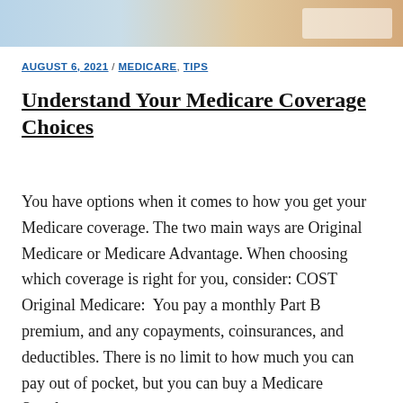[Figure (photo): Partial photo strip at top of page showing a person and a decorative badge/logo overlay]
AUGUST 6, 2021 / MEDICARE, TIPS
Understand Your Medicare Coverage Choices
You have options when it comes to how you get your Medicare coverage. The two main ways are Original Medicare or Medicare Advantage. When choosing which coverage is right for you, consider: COST Original Medicare:  You pay a monthly Part B premium, and any copayments, coinsurances, and deductibles. There is no limit to how much you can pay out of pocket, but you can buy a Medicare Supplement